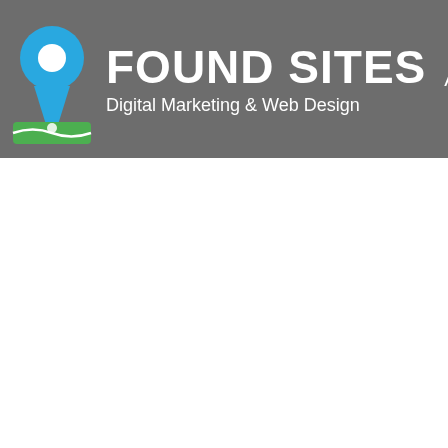FOUND SITES — Digital Marketing & Web Design | About
[Figure (logo): Found Sites logo: a map pin icon in blue with a green map/road graphic below it, followed by bold text 'FOUND SITES' and subtitle 'Digital Marketing & Web Design' on a gray header bar. Navigation link 'About' appears to the right with a vertical divider.]